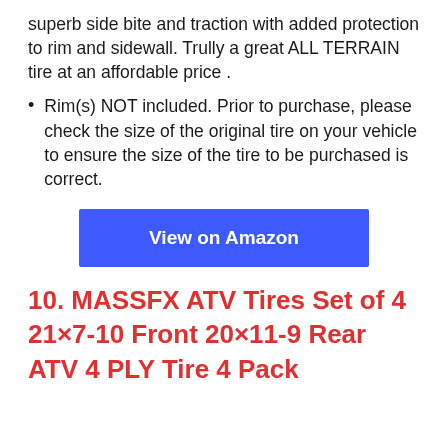superb side bite and traction with added protection to rim and sidewall. Trully a great ALL TERRAIN tire at an affordable price .
Rim(s) NOT included. Prior to purchase, please check the size of the original tire on your vehicle to ensure the size of the tire to be purchased is correct.
[Figure (other): Blue 'View on Amazon' button]
10. MASSFX ATV Tires Set of 4 21×7-10 Front 20×11-9 Rear ATV 4 PLY Tire 4 Pack